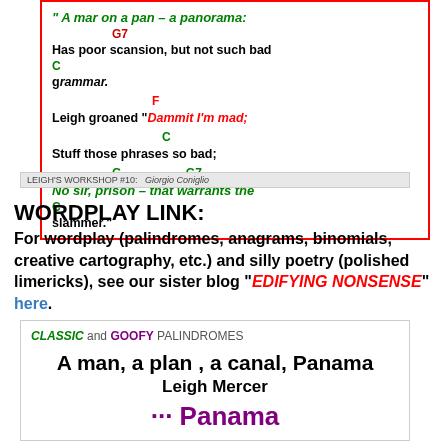[Figure (other): Sheet music / lyric box with chord annotations (G7, C, F, G) showing a song excerpt with italic and colored text about a panorama palindrome limerick.]
LEIGH'S WORKSHOP #10:   Giorgio Coniglio
WORDPLAY LINK:
For wordplay (palindromes, anagrams, binomials, creative cartography, etc.) and silly poetry (polished limericks), see our sister blog "EDIFYING NONSENSE" here.
[Figure (other): Decorative box showing CLASSIC and GOOFY PALINDROMES with text: A man, a plan , a canal, Panama / Leigh Mercer / and a stylized purple Panama text at the bottom.]